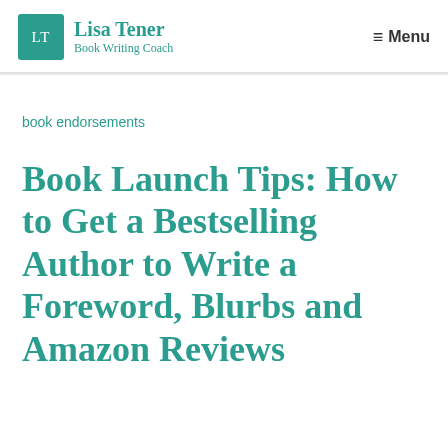Lisa Tener Book Writing Coach | Menu
book endorsements
Book Launch Tips: How to Get a Bestselling Author to Write a Foreword, Blurbs and Amazon Reviews